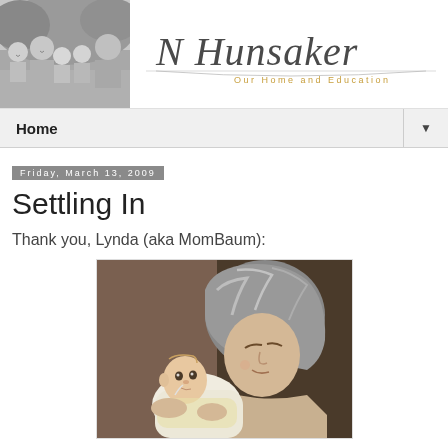[Figure (photo): Black and white family photo showing parents and young children outdoors]
[Figure (logo): N Hunsaker cursive script logo with subtitle 'Our Home and Education']
Home
Friday, March 13, 2009
Settling In
Thank you, Lynda (aka MomBaum):
[Figure (photo): Close-up photo of an older woman with gray hair holding and looking at a newborn baby]